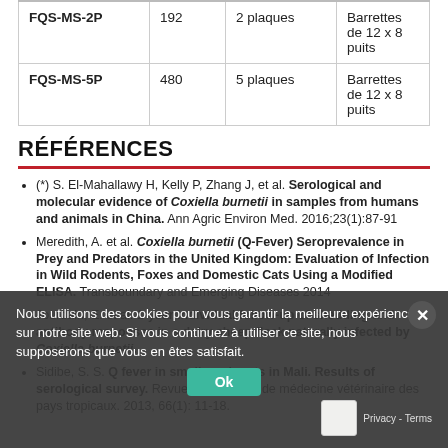|  |  |  |  |
| --- | --- | --- | --- |
| FQS-MS-2P | 192 | 2 plaques | Barrettes de 12 x 8 puits |
| FQS-MS-5P | 480 | 5 plaques | Barrettes de 12 x 8 puits |
RÉFÉRENCES
(*) S. El-Mahallawy H, Kelly P, Zhang J, et al. Serological and molecular evidence of Coxiella burnetii in samples from humans and animals in China. Ann Agric Environ Med. 2016;23(1):87-91
Meredith, A. et al. Coxiella burnetii (Q-Fever) Seroprevalence in Prey and Predators in the United Kingdom: Evaluation of Infection in Wild Rodents, Foxes and Domestic Cats Using a Modified ELISA. Transboundary and Emerging Diseases 2014
Jourdain, E. et al. 1-year individual follow-up of shedding and antibody responses in a dairy sheep flock naturally infected by Coxiella burnetii.
Sidibe, S. S. Q fever in small ruminants in Mali. Results of serological survey. Revue d'élevage et de médecine vétérinaire des pays tropicaux. 2013, 66(1): 11-18.
Nous utilisons des cookies pour vous garantir la meilleure expérience sur notre site web. Si vous continuez à utiliser ce site, nous supposerons que vous en êtes satisfait.